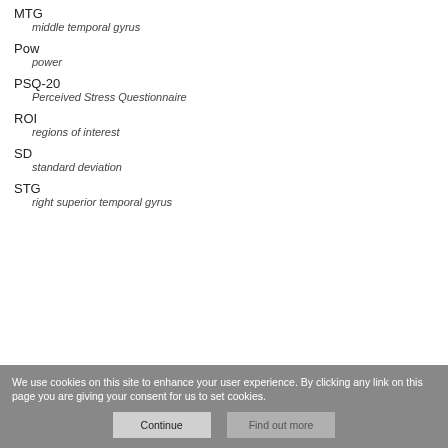MTG
  middle temporal gyrus
Pow
  power
PSQ-20
  Perceived Stress Questionnaire
ROI
  regions of interest
SD
  standard deviation
STG
  right superior temporal gyrus
We use cookies on this site to enhance your user experience. By clicking any link on this page you are giving your consent for us to set cookies.